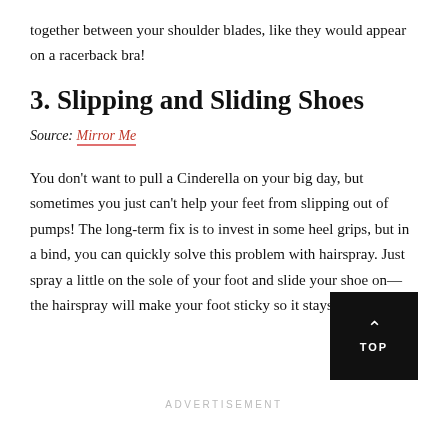together between your shoulder blades, like they would appear on a racerback bra!
3. Slipping and Sliding Shoes
Source: Mirror Me
You don’t want to pull a Cinderella on your big day, but sometimes you just can’t help your feet from slipping out of pumps! The long-term fix is to invest in some heel grips, but in a bind, you can quickly solve this problem with hairspray. Just spray a little on the sole of your foot and slide your shoe on—the hairspray will make your foot sticky so it stays put!
ADVERTISEMENT